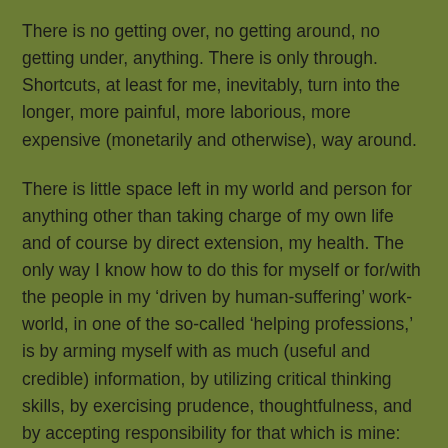There is no getting over, no getting around, no getting under, anything. There is only through. Shortcuts, at least for me, inevitably, turn into the longer, more painful, more laborious, more expensive (monetarily and otherwise), way around.
There is little space left in my world and person for anything other than taking charge of my own life and of course by direct extension, my health. The only way I know how to do this for myself or for/with the people in my ‘driven by human-suffering’ work-world, in one of the so-called ‘helping professions,’ is by arming myself with as much (useful and credible) information, by utilizing critical thinking skills, by exercising prudence, thoughtfulness, and by accepting responsibility for that which is mine: my choices, based on the information I have at any given time, in any given circumstance, and by not enmeshing myself in/with, that and whom, which are not my concern.